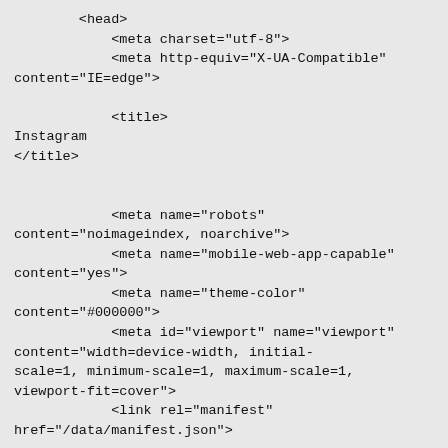<head>
            <meta charset="utf-8">
            <meta http-equiv="X-UA-Compatible" content="IE=edge">

            <title>
Instagram
</title>


            <meta name="robots" content="noimageindex, noarchive">
            <meta name="mobile-web-app-capable" content="yes">
            <meta name="theme-color" content="#000000">
            <meta id="viewport" name="viewport" content="width=device-width, initial-scale=1, minimum-scale=1, maximum-scale=1, viewport-fit=cover">
            <link rel="manifest" href="/data/manifest.json">


            <link
href="https://graph.instagram.com"
rel="preconnect" crossorigin>